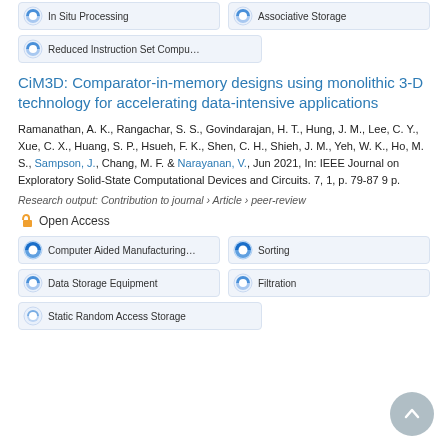In Situ Processing
Associative Storage
Reduced Instruction Set Compu…
CiM3D: Comparator-in-memory designs using monolithic 3-D technology for accelerating data-intensive applications
Ramanathan, A. K., Rangachar, S. S., Govindarajan, H. T., Hung, J. M., Lee, C. Y., Xue, C. X., Huang, S. P., Hsueh, F. K., Shen, C. H., Shieh, J. M., Yeh, W. K., Ho, M. S., Sampson, J., Chang, M. F. & Narayanan, V., Jun 2021, In: IEEE Journal on Exploratory Solid-State Computational Devices and Circuits. 7, 1, p. 79-87 9 p.
Research output: Contribution to journal › Article › peer-review
Open Access
Computer Aided Manufacturing
Sorting
Data Storage Equipment
Filtration
Static Random Access Storage